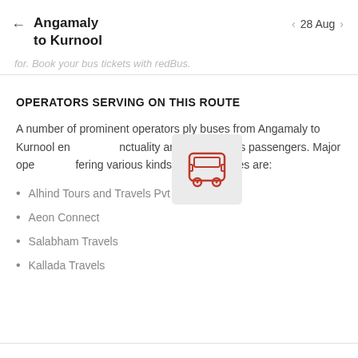Angamaly to Kurnool  ← | 28 Aug ›
for. Book your bus tickets with redBus.
OPERATORS SERVING ON THIS ROUTE
A number of prominent operators ply buses from Angamaly to Kurnool ensuring punctuality and safety for its passengers. Major operators offering various kinds of bus services are:
[Figure (illustration): Red bus icon (front view of a bus) overlaid on a light grey square background]
Alhind Tours and Travels Pvt Ltd
Aeon Connect
Salabham Travels
Kallada Travels